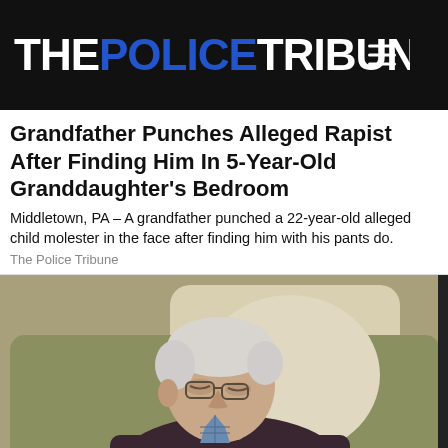THE POLICE TRIBUNE
Grandfather Punches Alleged Rapist After Finding Him In 5-Year-Old Granddaughter's Bedroom
Middletown, PA – A grandfather punched a 22-year-old alleged child molester in the face after finding him with his pants do.
The Police Tribune
[Figure (photo): Elderly man sleeping in an armchair, wearing a dark sweater and plaid shirt, head drooping forward with arms crossed]